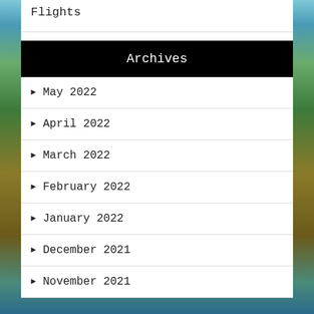Flights
Archives
May 2022
April 2022
March 2022
February 2022
January 2022
December 2021
November 2021